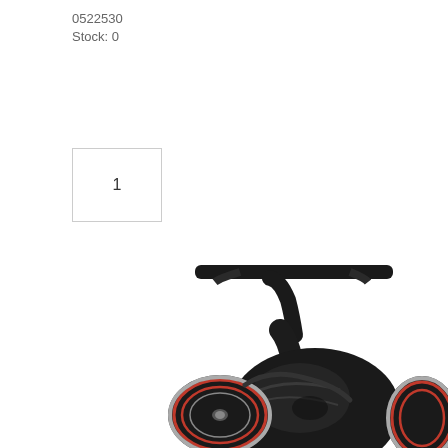0522530
Stock: 0
1
[Figure (photo): A black and red fishing spinning reel (Daiwa or similar brand) shown from an angle, with a T-bar handle at the top and silver/red accented spool visible at the bottom. The reel body is predominantly gloss black with red trim details.]